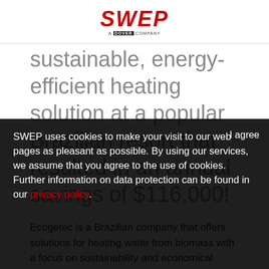SWEP — A Dover Company
sustainable, energy-efficient heating solution at a popular Brazilian resort that resulted in an annual savings of $116,000!
Ecogetec is a Brazilian company that offers solutions for heating water from biomass with a focus on sustainability and economical ... energy can be used in hotels, resorts, ... SWEP partnered with Ecogetec for a project at the top resort Recanto de Alvorada. A total of (32) SWEP BPHEs (brazed plate heat exchangers) were required to heat five
SWEP uses cookies to make your visit to our web pages as pleasant as possible. By using our services, we assume that you agree to the use of cookies. Further information on data protection can be found in our privacy policy.